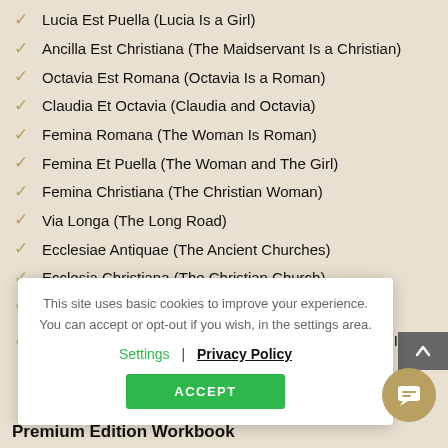Lucia Est Puella (Lucia Is a Girl)
Ancilla Est Christiana (The Maidservant Is a Christian)
Octavia Est Romana (Octavia Is a Roman)
Claudia Et Octavia (Claudia and Octavia)
Femina Romana (The Woman Is Roman)
Femina Et Puella (The Woman and The Girl)
Femina Christiana (The Christian Woman)
Via Longa (The Long Road)
Ecclesiae Antiquae (The Ancient Churches)
Ecclesia Christiana (The Christian Church)
Italia (Italy)
...s In Italy)
[Figure (screenshot): Cookie consent modal with text: This site uses basic cookies to improve your experience. You can accept or opt-out if you wish, in the settings area. With Settings and Privacy Policy links, and an ACCEPT button.]
Premium Edition Workbook